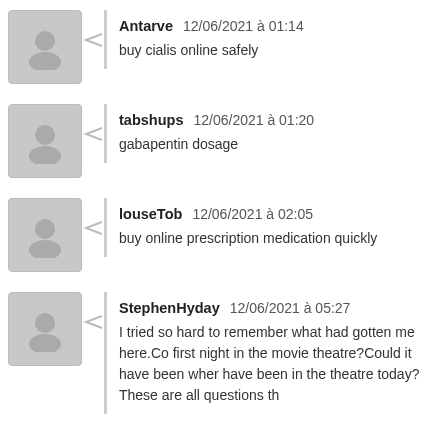Antarve  12/06/2021 à 01:14
buy cialis online safely
tabshups  12/06/2021 à 01:20
gabapentin dosage
louseTob  12/06/2021 à 02:05
buy online prescription medication quickly
StephenHyday  12/06/2021 à 05:27
I tried so hard to remember what had gotten me here.Co first night in the movie theatre?Could it have been wher have been in the theatre today?These are all questions th